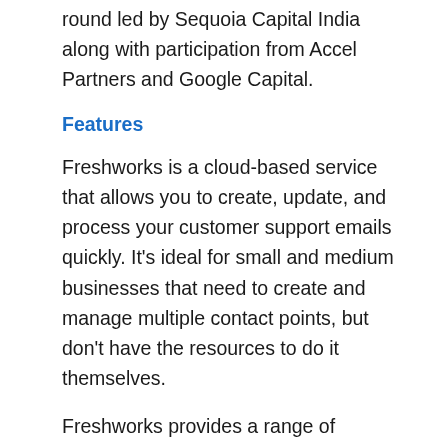round led by Sequoia Capital India along with participation from Accel Partners and Google Capital.
Features
Freshworks is a cloud-based service that allows you to create, update, and process your customer support emails quickly. It's ideal for small and medium businesses that need to create and manage multiple contact points, but don't have the resources to do it themselves.
Freshworks provides a range of features